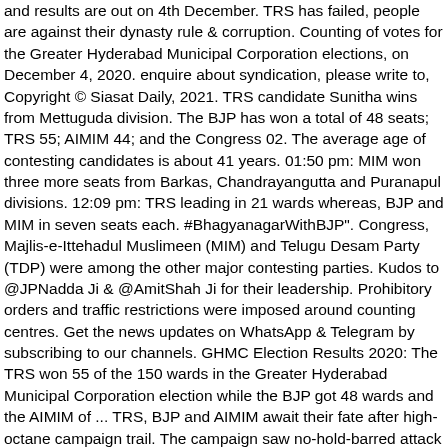and results are out on 4th December. TRS has failed, people are against their dynasty rule & corruption. Counting of votes for the Greater Hyderabad Municipal Corporation elections, on December 4, 2020. enquire about syndication, please write to, Copyright © Siasat Daily, 2021. TRS candidate Sunitha wins from Mettuguda division. The BJP has won a total of 48 seats; TRS 55; AIMIM 44; and the Congress 02. The average age of contesting candidates is about 41 years. 01:50 pm: MIM won three more seats from Barkas, Chandrayangutta and Puranapul divisions. 12:09 pm: TRS leading in 21 wards whereas, BJP and MIM in seven seats each. #BhagyanagarWithBJP". Congress, Majlis-e-Ittehadul Muslimeen (MIM) and Telugu Desam Party (TDP) were among the other major contesting parties. Kudos to @JPNadda Ji & @AmitShah Ji for their leadership. Prohibitory orders and traffic restrictions were imposed around counting centres. Get the news updates on WhatsApp & Telegram by subscribing to our channels. GHMC Election Results 2020: The TRS won 55 of the 150 wards in the Greater Hyderabad Municipal Corporation election while the BJP got 48 wards and the AIMIM of ... TRS, BJP and AIMIM await their fate after high-octane campaign trail. The campaign saw no-hold-barred attack by political opponents. #GHMCResultsWithBJPCongratulations to karyakarta's and Supporters who worked tirelessly for a long. In an impressive show, the Bharatiya Janata Party clinched the second spot, leaving behind Asaduddin Owaisi's AIMIM. 12:49 pm: TRS leads in 47 seats whereas, BJP and MIM in 21 seats each. Let us wait...